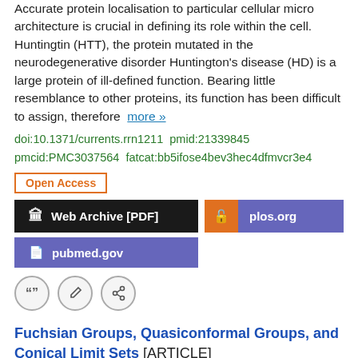Accurate protein localisation to particular cellular micro architecture is crucial in defining its role within the cell. Huntingtin (HTT), the protein mutated in the neurodegenerative disorder Huntington's disease (HD) is a large protein of ill-defined function. Bearing little resemblance to other proteins, its function has been difficult to assign, therefore  more »
doi:10.1371/currents.rrn1211  pmid:21339845  pmcid:PMC3037564  fatcat:bb5ifose4bev3hec4dfmvcr3e4
Open Access
Web Archive [PDF]
plos.org
pubmed.gov
Fuchsian Groups, Quasiconformal Groups, and Conical Limit Sets [ARTICLE]
Peter W. Jones, Lesley A. Ward
1996 arXiv  PRE-PRINT
Jones was partially supported by NSF grant #DMS-92-13595. Ward's research at MSRI was supported in part by NSF grant #DMS-